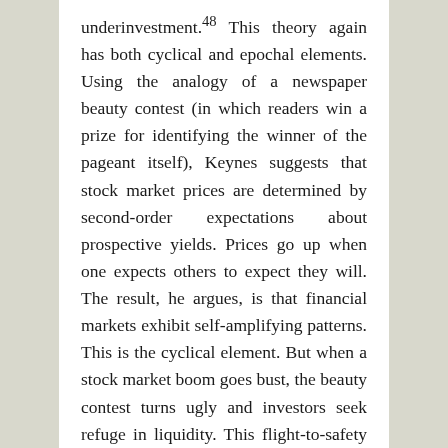underinvestment.48 This theory again has both cyclical and epochal elements. Using the analogy of a newspaper beauty contest (in which readers win a prize for identifying the winner of the pageant itself), Keynes suggests that stock market prices are determined by second-order expectations about prospective yields. Prices go up when one expects others to expect they will. The result, he argues, is that financial markets exhibit self-amplifying patterns. This is the cyclical element. But when a stock market boom goes bust, the beauty contest turns ugly and investors seek refuge in liquidity. This flight-to-safety kick starts a downward spiral in the broader economy as consumption levels drop, traders become